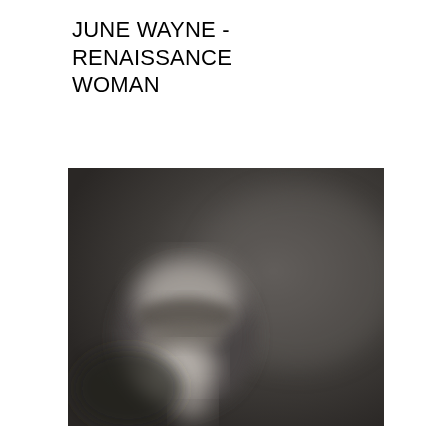JUNE WAYNE - RENAISSANCE WOMAN
[Figure (photo): Black and white blurred photograph of a person, with face partially visible in the lower-left portion of the image against a dark grey background.]